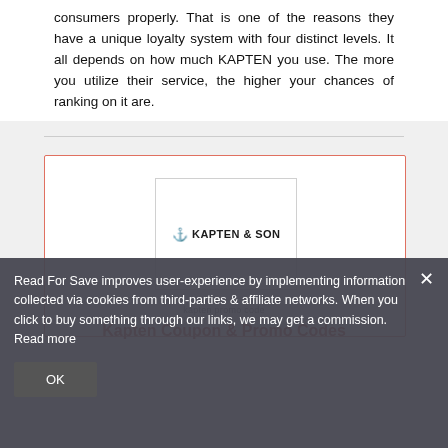consumers properly. That is one of the reasons they have a unique loyalty system with four distinct levels. It all depends on how much KAPTEN you use. The more you utilize their service, the higher your chances of ranking on it are.
[Figure (logo): Kapten & Son logo inside a bordered card with coral/red outer border]
kapten promo code
Kapten Coupon & Promo Codes
Read For Save improves user-experience by implementing information collected via cookies from third-parties & affiliate networks. When you click to buy something through our links, we may get a commission. Read more
OK